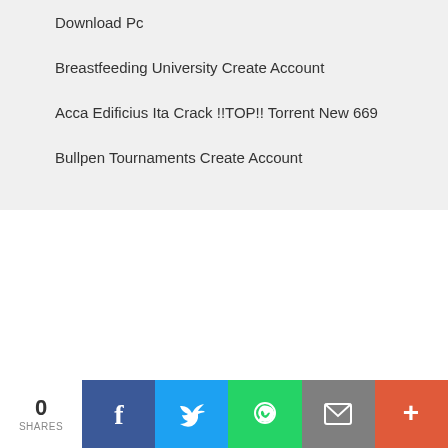Download Pc
Breastfeeding University Create Account
Acca Edificius Ita Crack !!TOP!! Torrent New 669
Bullpen Tournaments Create Account
0 SHARES  [Facebook] [Twitter] [WhatsApp] [Email] [More]